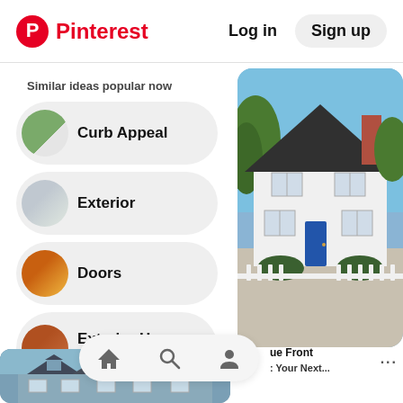Pinterest | Log in | Sign up
Similar ideas popular now
Curb Appeal
Exterior
Doors
Exterior House Color
[Figure (photo): White house with blue front door, white picket fence, blue sky and trees]
[Figure (photo): Blue house exterior with dormers]
ue Front
: Your Next...
[Figure (infographic): Bottom navigation bar with home, search, and profile icons]